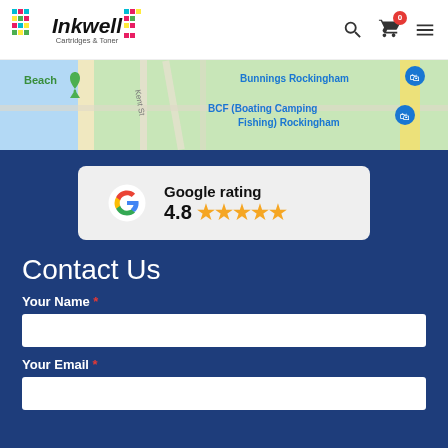Inkwell Cartridges & Toner
[Figure (map): Google Maps embed showing Rockingham area with Bunnings Rockingham and BCF (Boating Camping Fishing) Rockingham labeled]
[Figure (infographic): Google rating badge showing 4.8 stars with Google G logo]
Contact Us
Your Name *
Your Email *